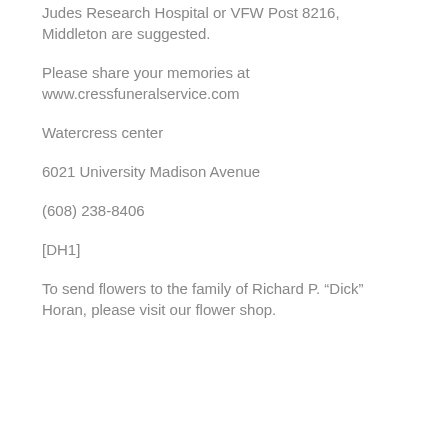Judes Research Hospital or VFW Post 8216, Middleton are suggested.
Please share your memories at www.cressfuneralservice.com
Watercress center
6021 University Madison Avenue
(608) 238-8406
[DH1]
To send flowers to the family of Richard P. “Dick” Horan, please visit our flower shop.